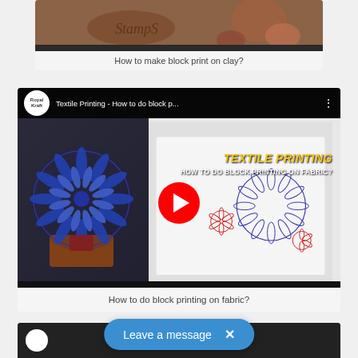[Figure (photo): Thumbnail image showing clay block printing stamps/tools on a wooden surface, with carved patterns visible]
How to make block print on clay?
[Figure (screenshot): YouTube video thumbnail for 'Textile Printing - How to do block p...' by Royal Kraft channel. Shows a blue mandala-patterned wooden block on the left and fabric with block-printed mandala design on the right. Overlay text reads 'TEXTILE PRINTING' in gold italic and 'HOW TO DO BLOCK PRINTING ON FABRIC?' in white bold. Red circular YouTube play button in center.]
How to do block printing on fabric?
[Figure (screenshot): Partial view of another YouTube video thumbnail at bottom of page, partially obscured by 'Leave a message' chat bubble overlay]
Leave a message